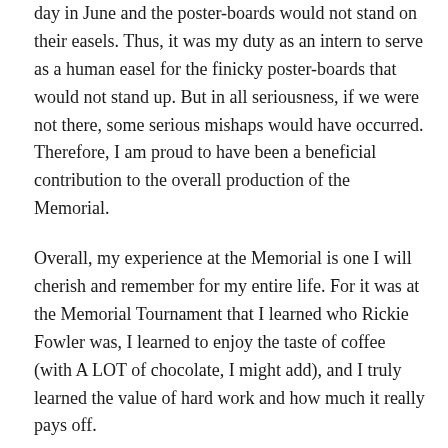day in June and the poster-boards would not stand on their easels. Thus, it was my duty as an intern to serve as a human easel for the finicky poster-boards that would not stand up. But in all seriousness, if we were not there, some serious mishaps would have occurred. Therefore, I am proud to have been a beneficial contribution to the overall production of the Memorial.
Overall, my experience at the Memorial is one I will cherish and remember for my entire life. For it was at the Memorial Tournament that I learned who Rickie Fowler was, I learned to enjoy the taste of coffee (with A LOT of chocolate, I might add), and I truly learned the value of hard work and how much it really pays off.
So that last line was really cheesy, but you catch my drift, right?